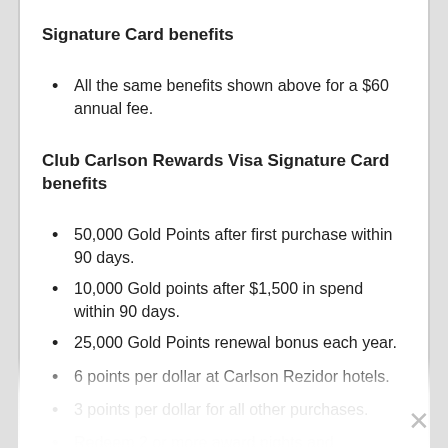Signature Card benefits
All the same benefits shown above for a $60 annual fee.
Club Carlson Rewards Visa Signature Card benefits
50,000 Gold Points after first purchase within 90 days.
10,000 Gold points after $1,500 in spend within 90 days.
25,000 Gold Points renewal bonus each year.
6 points per dollar at Carlson Rezidor hotels.
3 points per dollar for all other purchases.
Redeem 2 or more award nights and